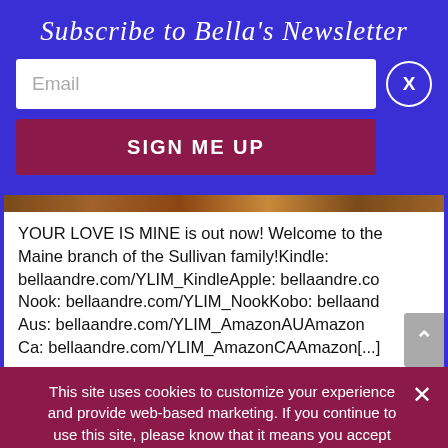Subscribe to Bella's Newsletter
[Figure (screenshot): Email input field with placeholder text 'Email' and a close (X) button in a circle]
[Figure (screenshot): SIGN ME UP button in dark red/maroon]
YOUR LOVE IS MINE is out now! Welcome to the Maine branch of the Sullivan family!Kindle: bellaandre.com/YLIM_KindleApple: bellaandre.co Nook: bellaandre.com/YLIM_NookKobo: bellaand Aus: bellaandre.com/YLIM_AmazonAUAmazon Ca: bellaandre.com/YLIM_AmazonCAAmazon[...]
This site uses cookies to customize your experience and provide web-based marketing. If you continue to use this site, please know that it means you accept these terms.
OKAY   VIEW OUR PRIVACY POLICY